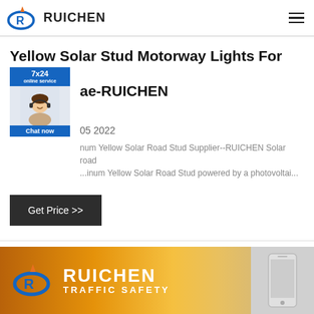RUICHEN
Yellow Solar Stud Motorway Lights For Path ae-RUICHEN
[Figure (photo): 7x24 online service chat widget with woman wearing headset]
05 2022
num Yellow Solar Road Stud Supplier--RUICHEN Solar road ...inum Yellow Solar Road Stud powered by a photovoltai...
Get Price >>
[Figure (logo): RUICHEN TRAFFIC SAFETY banner with logo at bottom of page]